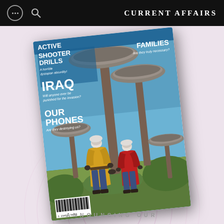CURRENT AFFAIRS
[Figure (illustration): Magazine cover of Current Affairs showing two figures (one in yellow jacket, one in red jacket) holding hands and looking up at giant mushrooms in a surreal landscape. Cover headlines include: ACTIVE SHOOTER DRILLS - A horrible dystopian absurdity!, FAMILIES - Are they truly necessary?, IRAQ - Will anyone ever be punished for the invasion?, OUR PHONES - Are they destroying us? Cover also includes a barcode.]
ANNOUNCING OUR